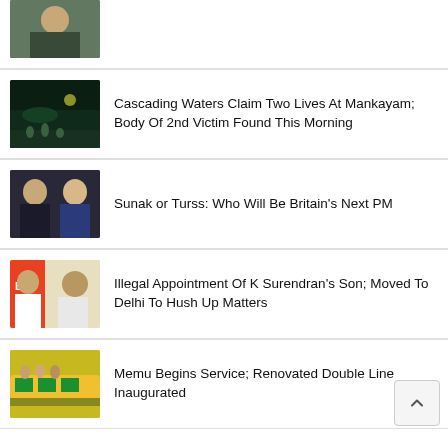[Figure (photo): Thumbnail of a man in a checkered shirt outdoors]
[Figure (photo): Night scene with water and people in background]
Cascading Waters Claim Two Lives At Mankayam; Body Of 2nd Victim Found This Morning
[Figure (photo): Two people side by side - a man and a woman in suits]
Sunak or Turss: Who Will Be Britain's Next PM
[Figure (photo): Two men - one in white shirt, one with BJP flag]
Illegal Appointment Of K Surendran's Son; Moved To Delhi To Hush Up Matters
[Figure (photo): Crowd near a train or vehicle, inauguration scene]
Memu Begins Service; Renovated Double Line Inaugurated